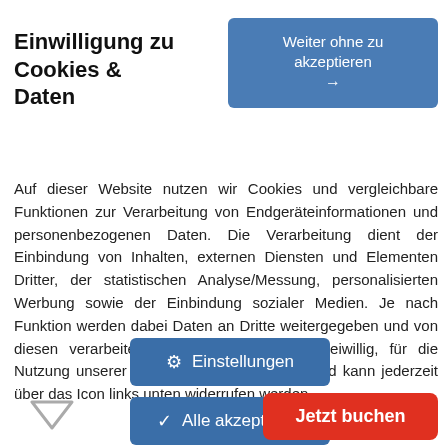Einwilligung zu Cookies & Daten
[Figure (other): Button: Weiter ohne zu akzeptieren →]
Auf dieser Website nutzen wir Cookies und vergleichbare Funktionen zur Verarbeitung von Endgeräteinformationen und personenbezogenen Daten. Die Verarbeitung dient der Einbindung von Inhalten, externen Diensten und Elementen Dritter, der statistischen Analyse/Messung, personalisierten Werbung sowie der Einbindung sozialer Medien. Je nach Funktion werden dabei Daten an Dritte weitergegeben und von diesen verarbeitet. Diese Einwilligung ist freiwillig, für die Nutzung unserer Website nicht erforderlich und kann jederzeit über das Icon links unten widerrufen werden.
[Figure (other): Button: ⚙ Einstellungen]
[Figure (other): Button: ✓ Alle akzeptieren]
[Figure (other): Triangle/dropdown icon at bottom left]
[Figure (other): Button: Jetzt buchen (red)]